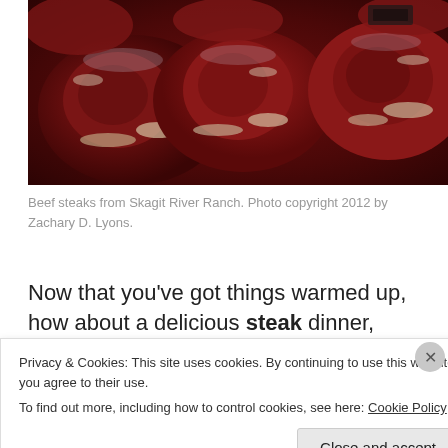[Figure (photo): Close-up photo of multiple beef steaks vacuum-packed in plastic wrap, showing marbled red meat from Skagit River Ranch.]
Beef steaks from Skagit River Ranch. Photo copyright 2012 by Zachary D. Lyons.
Now that you've got things warmed up, how about a delicious steak dinner, featuring steaks from Skagit River
Privacy & Cookies: This site uses cookies. By continuing to use this website, you agree to their use.
To find out more, including how to control cookies, see here: Cookie Policy
Close and accept